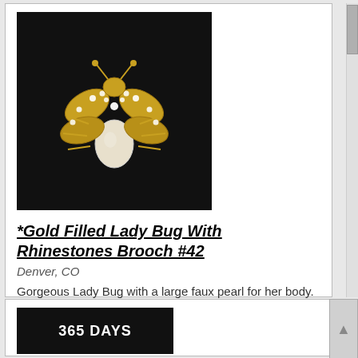[Figure (photo): Gold filled lady bug brooch with rhinestones and faux pearl body on black background]
*Gold Filled Lady Bug With Rhinestones Brooch #42
Denver, CO
Gorgeous Lady Bug with a large faux pearl for her body. Good luck jewelry. Measures 1 1/4" High; 1" Across.All Antiques and Collectibles are from a private collection.FOR MORE INFORMATION OR TO PURCHA ... more
1 @ $95.00 / one
[Figure (photo): Second listing card showing '365 DAYS' text on black background, partially visible]